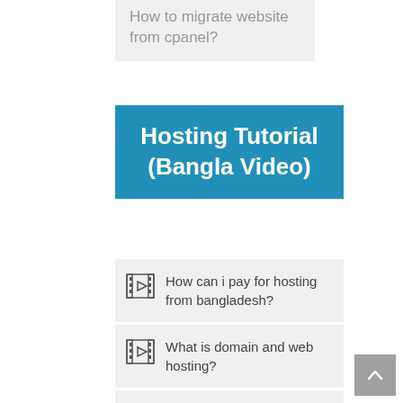How to migrate website from cpanel?
Hosting Tutorial (Bangla Video)
How can i pay for hosting from bangladesh?
What is domain and web hosting?
How to buy domain and